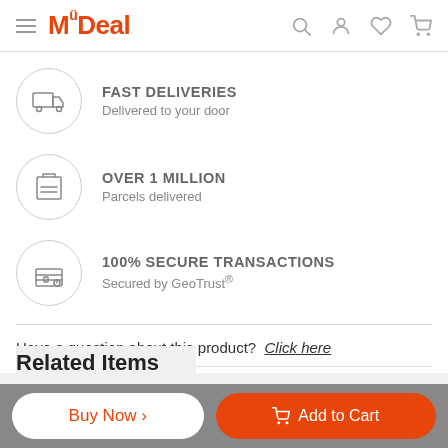MyDeal
FAST DELIVERIES – Delivered to your door
OVER 1 MILLION – Parcels delivered
100% SECURE TRANSACTIONS – Secured by GeoTrust®
Have a question about this product? Click here
Share:
Related Items
Buy Now >
Add to Cart